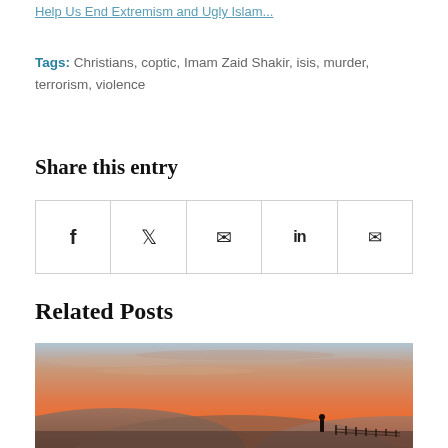Help Us End Extremism and Ugly Islam...
Tags: Christians, coptic, Imam Zaid Shakir, isis, murder, terrorism, violence
Share this entry
[Figure (other): Social share buttons: Facebook, Twitter, WhatsApp, LinkedIn, Email]
Related Posts
[Figure (photo): Sunset landscape with rolling hills and silhouette of a person near a fence]